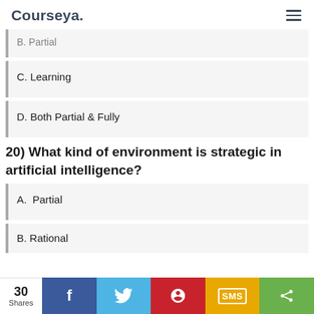Courseya.
B. Partial
C. Learning
D. Both Partial & Fully
20) What kind of environment is strategic in artificial intelligence?
A. Partial
B. Rational
30 Shares — Facebook, Twitter, Pinterest, SMS, Share